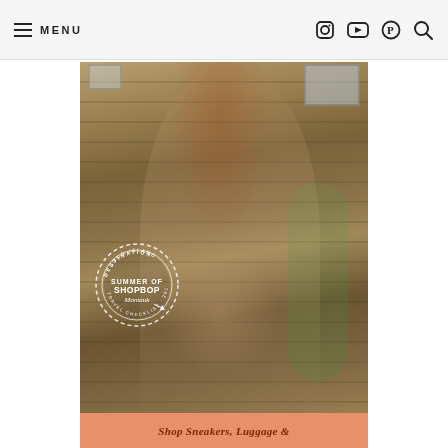MENU
[Figure (photo): A smiling woman with long red hair wearing a green floral bikini, seated on a wooden rooftop deck. A circular stamp/badge reads 'DESTINATION LONG ISLAND · SUMMER OF SHOPBOP · Montauk · TRAVEL CHECKLIST · 2019'.]
Shop Sneakers, Luggage &